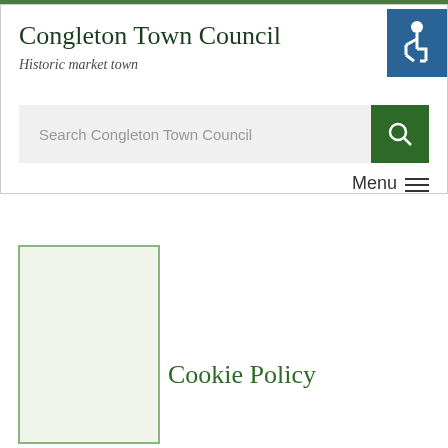Congleton Town Council
Historic market town
[Figure (logo): Accessibility icon - wheelchair symbol in white on blue background]
Search Congleton Town Council
Menu
[Figure (illustration): Light green decorative box with green border]
Cookie Policy
Our Cookie Polic...